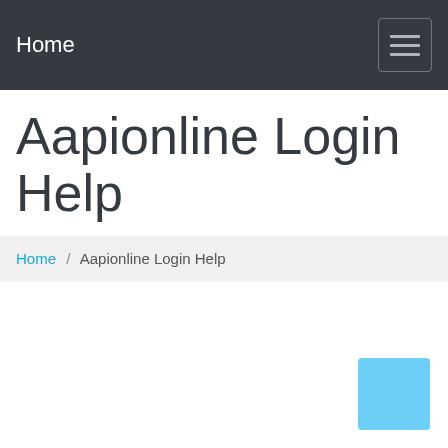Home
Aapionline Login Help
Home / Aapionline Login Help
[Figure (other): Light blue square button in the bottom right corner of the page]